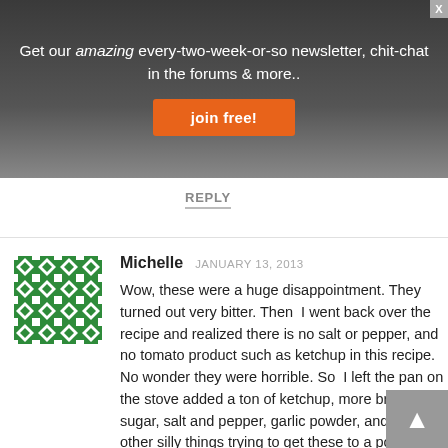Get our amazing every-two-week-or-so newsletter, chit-chat in the forums & more..
join free!
REPLY
[Figure (illustration): Green and white geometric pattern avatar for user Michelle]
Michelle   JANUARY 13, 2013
Wow, these were a huge disappointment. They turned out very bitter. Then  I went back over the recipe and realized there is no salt or pepper, and no tomato product such as ketchup in this recipe.  No wonder they were horrible. So  I left the pan on the stove added a ton of ketchup, more brown sugar, salt and pepper, garlic powder, and a few other silly things trying to get these to a point where they were edible (from a flavor